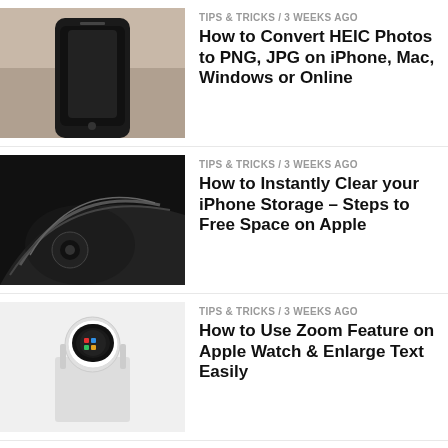[Figure (photo): Black iPhone on fabric background]
TIPS & TRICKS / 3 weeks ago
How to Convert HEIC Photos to PNG, JPG on iPhone, Mac, Windows or Online
[Figure (photo): Dark Apple device with curved lines]
TIPS & TRICKS / 3 weeks ago
How to Instantly Clear your iPhone Storage – Steps to Free Space on Apple
[Figure (photo): Apple Watch on white stand]
TIPS & TRICKS / 3 weeks ago
How to Use Zoom Feature on Apple Watch & Enlarge Text Easily
[Figure (photo): OnePlus 9RT smartphone with red and blue background]
DETAILED REVIEWS / 4 months ago
OnePlus 9RT Review – The OxygenOS Flagship Smartphone with ColorOS Sprinkled
[Figure (photo): Dyson purifier near TV]
RECOMMENDED / 8 months ago
Dyson Purifier Hot+Cool HP07 Unboxing – Captures PM0.1 Dust, Allergens and Viruses Perfectly